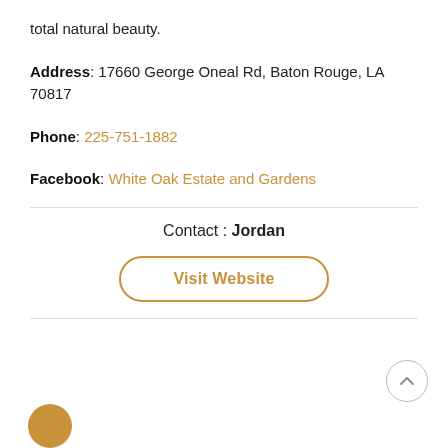total natural beauty.
Address: 17660 George Oneal Rd, Baton Rouge, LA 70817
Phone: 225-751-1882
Facebook: White Oak Estate and Gardens
Contact : Jordan
Visit Website